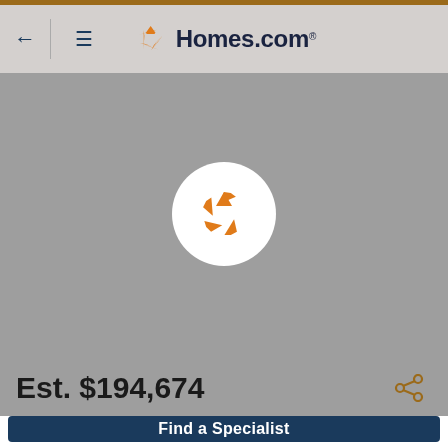← ≡ Homes.com
[Figure (screenshot): Gray map area with Homes.com logo pin marker centered on map]
Est. $194,674
Find a Specialist